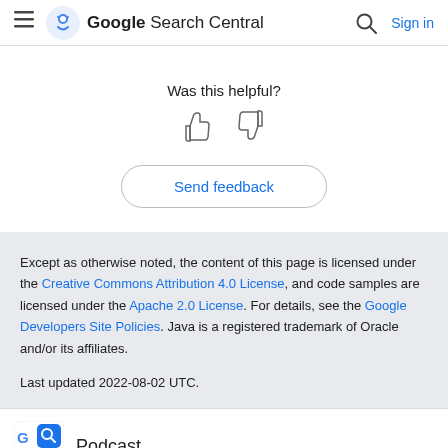Google Search Central  Sign in
Was this helpful?
[Figure (other): Thumbs up and thumbs down icons for feedback]
Send feedback
Except as otherwise noted, the content of this page is licensed under the Creative Commons Attribution 4.0 License, and code samples are licensed under the Apache 2.0 License. For details, see the Google Developers Site Policies. Java is a registered trademark of Oracle and/or its affiliates.
Last updated 2022-08-02 UTC.
Podcast